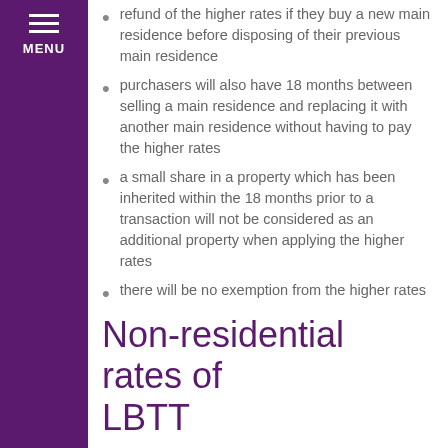refund of the higher rates if they buy a new main residence before disposing of their previous main residence
purchasers will also have 18 months between selling a main residence and replacing it with another main residence without having to pay the higher rates
a small share in a property which has been inherited within the 18 months prior to a transaction will not be considered as an additional property when applying the higher rates
there will be no exemption from the higher rates for significant investors
LBTT includes an 18 month period rather than 36 months which applies for Stamp Duty Land Tax (SDLT).
Non-residential rates of LBTT